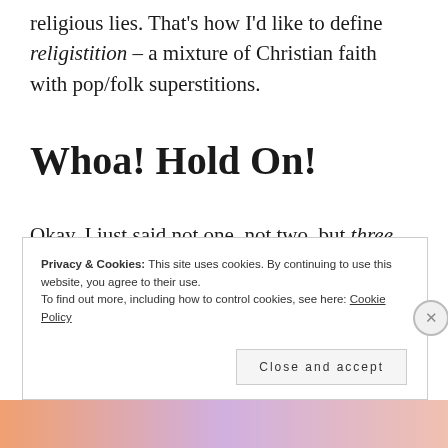religious lies. That's how I'd like to define religistition – a mixture of Christian faith with pop/folk superstitions.
Whoa! Hold On!
Okay, I just said not one, not two, but three controversial things. Depending on
Privacy & Cookies: This site uses cookies. By continuing to use this website, you agree to their use.
To find out more, including how to control cookies, see here: Cookie Policy
Close and accept